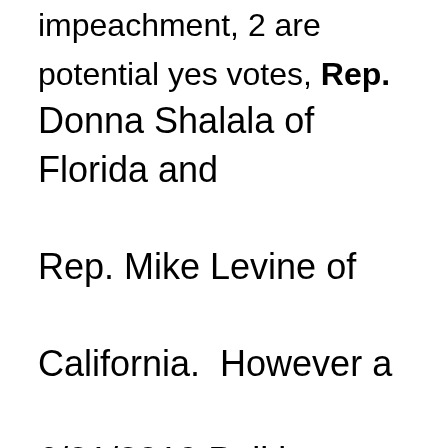impeachment, 2 are potential yes votes, Rep. Donna Shalala of Florida and Rep. Mike Levine of California.  However a 6/21/2019 Politico report indicates that there are about 200 Democrats who are privately in favor of impeachment but they won't